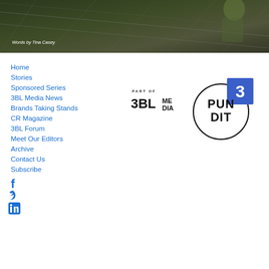[Figure (photo): Hero image showing solar panels with a person working on them, dark olive/green tones]
Words by Tina Casey
Home
Stories
Sponsored Series
3BL Media News
Brands Taking Stands
CR Magazine
3BL Forum
Meet Our Editors
Archive
Contact Us
Subscribe
[Figure (logo): PART OF 3BL MEDIA logo in black text]
[Figure (logo): PUNDIT 3 circle logo with number 3 in blue square]
[Figure (logo): Facebook icon]
[Figure (logo): Twitter icon]
[Figure (logo): LinkedIn icon]